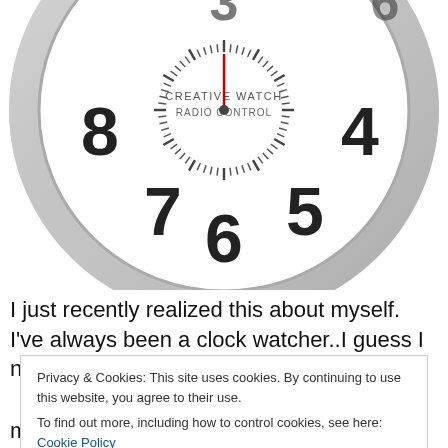[Figure (photo): Close-up photo of a round wall clock with a silver/grey frame. The clock face is white with black numerals (visible: 4, 5, 6, 7, 8 at bottom and partial 3 and others at top). Text on face reads 'CREATIVE WATCH' and 'RADIO CONTROL'. A red second hand is visible pointing upward. Clock tick marks visible around the dial.]
I just recently realized this about myself.  I've always been a clock watcher..I guess I never really gave it much thought until...
Privacy & Cookies: This site uses cookies. By continuing to use this website, you agree to their use.
To find out more, including how to control cookies, see here: Cookie Policy
mean REALLY EXTREME clock watching to the MAX!  I